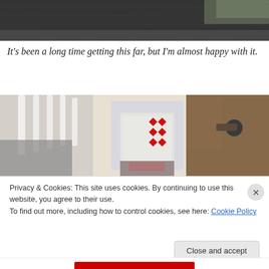[Figure (photo): Top portion of a staircase/carpet area viewed from above, dark grey carpet visible]
It's been a long time getting this far, but I'm almost happy with it.
[Figure (photo): View looking down a staircase toward a front door with decorative stained glass panels, white banister railings on left, wooden handrail on right, hallway below]
Privacy & Cookies: This site uses cookies. By continuing to use this website, you agree to their use.
To find out more, including how to control cookies, see here: Cookie Policy